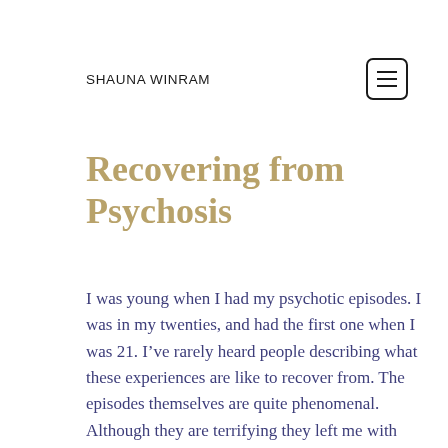SHAUNA WINRAM
Recovering from Psychosis
I was young when I had my psychotic episodes. I was in my twenties, and had the first one when I was 21. I’ve rarely heard people describing what these experiences are like to recover from. The episodes themselves are quite phenomenal. Although they are terrifying they left me with incredibly rich tales that I treasure and have recorded in various ways. But I’ve